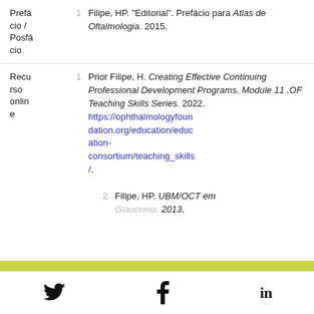Prefácio / Posfácio — 1 — Filipe, HP. "Editorial". Prefácio para Atlas de Oftalmologia. 2015.
Recurso online — 1 — Prior Filipe, H. Creating Effective Continuing Professional Development Programs. Module 11 .OF Teaching Skills Series. 2022. https://ophthalmologyfoundation.org/education/education-consortium/teaching_skills/.
Recurso online — 2 — Filipe, HP. UBM/OCT em Glaucoma. 2013.
Twitter | Facebook | LinkedIn